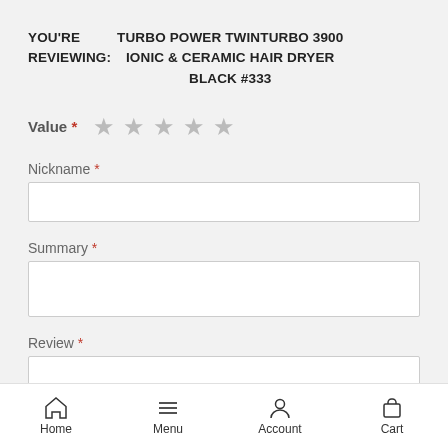YOU'RE REVIEWING: TURBO POWER TWINTURBO 3900 IONIC & CERAMIC HAIR DRYER BLACK #333
Value *  ☆ ☆ ☆ ☆ ☆
Nickname *
Summary *
Review *
Home  Menu  Account  Cart